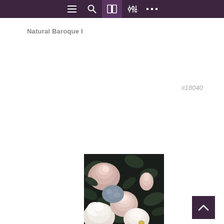Navigation bar with menu, search, book, settings, and more icons
Natural Baroque I
#18040
[Figure (photo): Dark floral arrangement with pink roses, peonies, and dark green leaves on a near-black background — baroque style]
[Figure (other): Back to top button with upward chevron arrow on dark purple background]